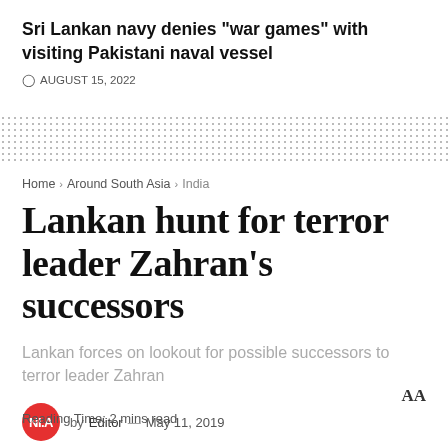Sri Lankan navy denies "war games" with visiting Pakistani naval vessel
AUGUST 15, 2022
Home > Around South Asia > India
Lankan hunt for terror leader Zahran's successors
Lankan forces on lookout for possible successors to terror leader Zahran
by Editor — May 11, 2019
Reading Time: 2 mins read